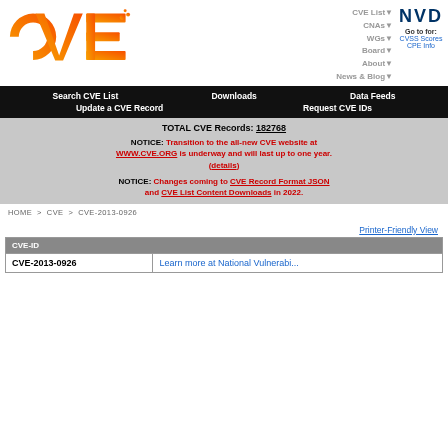[Figure (logo): CVE orange gradient logo with dots]
CVE List▼  CNAs▼  WGs▼  Board▼  About▼  News & Blog▼
[Figure (logo): NVD logo - Go to for: CVSS Scores, CPE Info]
Search CVE List  Downloads  Data Feeds  Update a CVE Record  Request CVE IDs
TOTAL CVE Records: 182768
NOTICE: Transition to the all-new CVE website at WWW.CVE.ORG is underway and will last up to one year. (details)
NOTICE: Changes coming to CVE Record Format JSON and CVE List Content Downloads in 2022.
HOME > CVE > CVE-2013-0926
Printer-Friendly View
| CVE-ID |  |
| --- | --- |
| CVE-2013-0926 | Learn more at National Vulnerabi... |